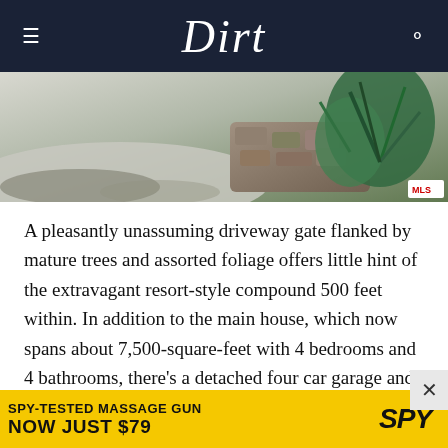Dirt
[Figure (photo): Driveway with stone retaining wall and agave/tropical plants, shadowed pavement with MLS badge in bottom right corner]
A pleasantly unassuming driveway gate flanked by mature trees and assorted foliage offers little hint of the extravagant resort-style compound 500 feet within. In addition to the main house, which now spans about 7,500-square-feet with 4 bedrooms and 4 bathrooms, there's a detached four car garage and a guest house with 2 more
[Figure (screenshot): Advertisement banner: SPY-TESTED MASSAGE GUN NOW JUST $79 with SPY logo on yellow background]